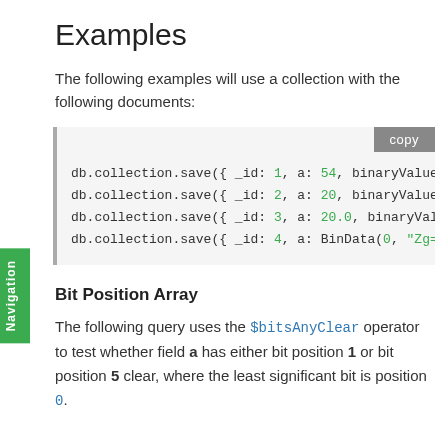Examples
The following examples will use a collection with the following documents:
[Figure (screenshot): Code block showing four db.collection.save() calls with _id 1-4, fields a and binaryValue, partially clipped on right. Has a 'copy' button in top-right corner.]
Bit Position Array
The following query uses the $bitsAnyClear operator to test whether field a has either bit position 1 or bit position 5 clear, where the least significant bit is position 0.